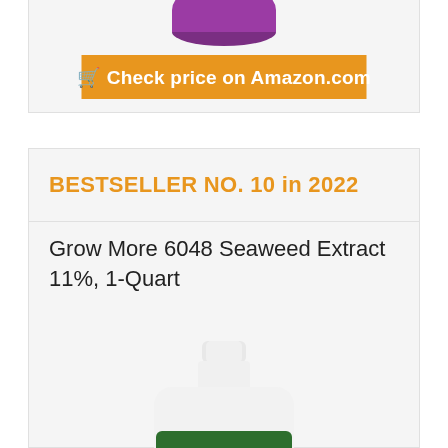[Figure (photo): Purple bowl product image partially visible at top of card]
🛒 Check price on Amazon.com
BESTSELLER NO. 10 in 2022
Grow More 6048 Seaweed Extract 11%, 1-Quart
[Figure (photo): Grow More Seaweed Extract 11% 1-Quart bottle with green label showing GROWMORE SEAWEED EXTRACT Liquefied Natural Kelp]